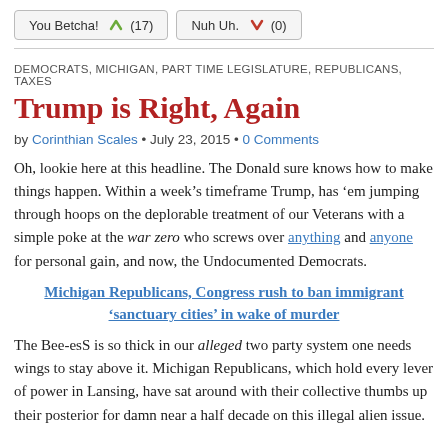[Figure (other): Voting buttons: 'You Betcha! (17)' and 'Nuh Uh. (0)' with up and down arrow icons]
DEMOCRATS, MICHIGAN, PART TIME LEGISLATURE, REPUBLICANS, TAXES
Trump is Right, Again
by Corinthian Scales • July 23, 2015 • 0 Comments
Oh, lookie here at this headline. The Donald sure knows how to make things happen. Within a week's timeframe Trump, has 'em jumping through hoops on the deplorable treatment of our Veterans with a simple poke at the war zero who screws over anything and anyone for personal gain, and now, the Undocumented Democrats.
Michigan Republicans, Congress rush to ban immigrant 'sanctuary cities' in wake of murder
The Bee-esS is so thick in our alleged two party system one needs wings to stay above it. Michigan Republicans, which hold every lever of power in Lansing, have sat around with their collective thumbs up their posterior for damn near a half decade on this illegal alien issue.